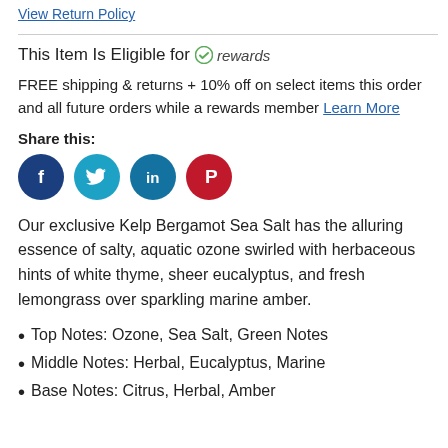Return for store credit. Free returns with rewards
View Return Policy
This Item Is Eligible for rewards
FREE shipping & returns + 10% off on select items this order and all future orders while a rewards member Learn More
Share this:
[Figure (other): Social media share icons: Facebook, Twitter, LinkedIn, Pinterest]
Our exclusive Kelp Bergamot Sea Salt has the alluring essence of salty, aquatic ozone swirled with herbaceous hints of white thyme, sheer eucalyptus, and fresh lemongrass over sparkling marine amber.
Top Notes: Ozone, Sea Salt, Green Notes
Middle Notes: Herbal, Eucalyptus, Marine
Base Notes: Citrus, Herbal, Amber